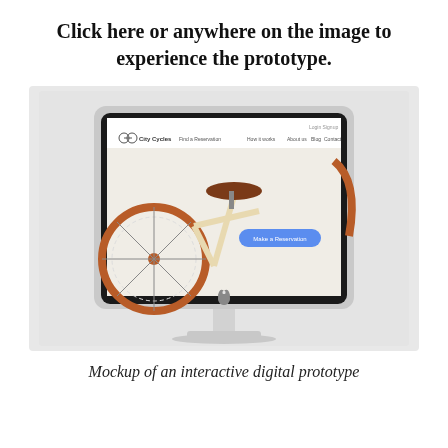Click here or anywhere on the image to experience the prototype.
[Figure (screenshot): An iMac desktop computer displaying a bicycle rental website called 'City Cycles' with a close-up photo of a bicycle saddle and a blue 'Make a Reservation' button on a light background.]
Mockup of an interactive digital prototype